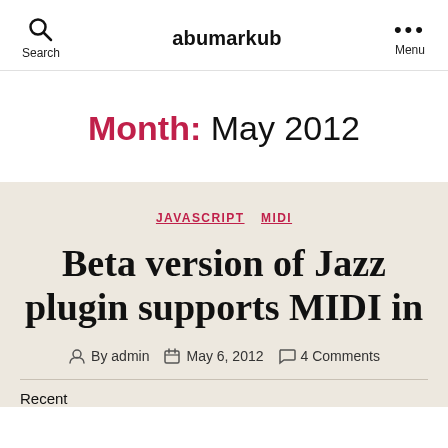abumarkub | Search | Menu
Month: May 2012
JAVASCRIPT  MIDI
Beta version of Jazz plugin supports MIDI in
By admin  May 6, 2012  4 Comments
Recent... [excerpt cut off]